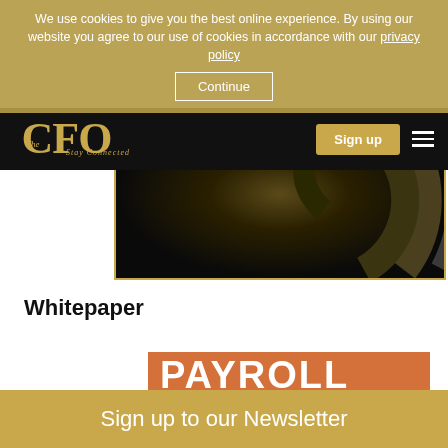We use cookies to give you the best online experience. By using our website you agree to our use of cookies in accordance with our privacy policy
Continue
[Figure (logo): The CFO magazine logo in gold on dark navigation bar]
[Figure (photo): Dark decorative hero image with golden arc patterns and 'Stay Connected' text]
Whitepaper
[Figure (photo): Orange PAYROLL whitepaper cover card]
Sign up to our Newsletter